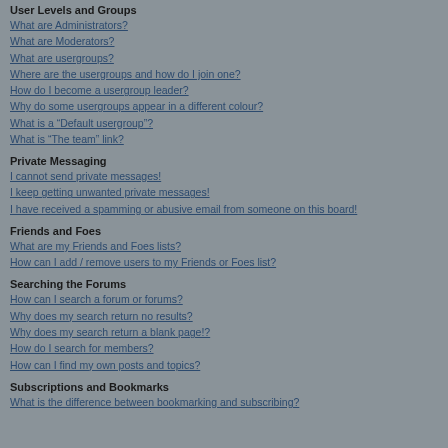User Levels and Groups
What are Administrators?
What are Moderators?
What are usergroups?
Where are the usergroups and how do I join one?
How do I become a usergroup leader?
Why do some usergroups appear in a different colour?
What is a “Default usergroup”?
What is “The team” link?
Private Messaging
I cannot send private messages!
I keep getting unwanted private messages!
I have received a spamming or abusive email from someone on this board!
Friends and Foes
What are my Friends and Foes lists?
How can I add / remove users to my Friends or Foes list?
Searching the Forums
How can I search a forum or forums?
Why does my search return no results?
Why does my search return a blank page!?
How do I search for members?
How can I find my own posts and topics?
Subscriptions and Bookmarks
What is the difference between bookmarking and subscribing?